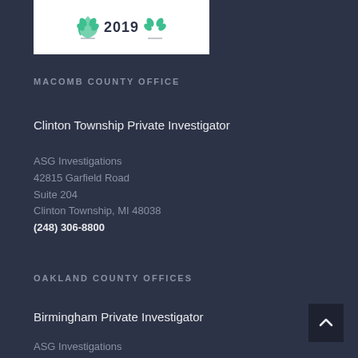[Figure (logo): Award badge with laurel leaves and year 2019, white background]
MACOMB COUNTY OFFICE
Clinton Township Private Investigator
ASG Investigations
42815 Garfield Road
Suite 204
Clinton Township, MI 48038
(248) 306-8800
OAKLAND COUNTY OFFICES
Birmingham Private Investigator
ASG Investigations